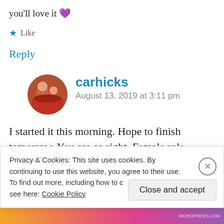you'll love it 💜
★ Like
Reply
carhicks
August 13, 2019 at 3:11 pm
I started it this morning. Hope to finish tomorrow. You are so right. Female role
Privacy & Cookies: This site uses cookies. By continuing to use this website, you agree to their use. To find out more, including how to c see here: Cookie Policy
Close and accept